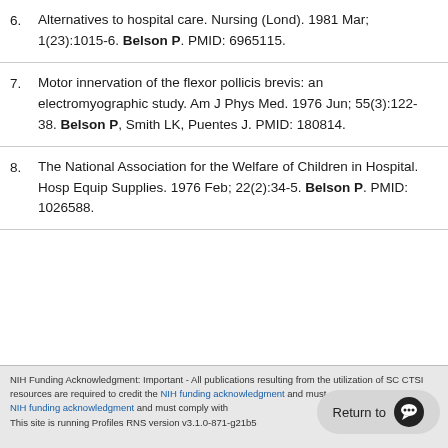6. Alternatives to hospital care. Nursing (Lond). 1981 Mar; 1(23):1015-6. Belson P. PMID: 6965115.
7. Motor innervation of the flexor pollicis brevis: an electromyographic study. Am J Phys Med. 1976 Jun; 55(3):122-38. Belson P, Smith LK, Puentes J. PMID: 180814.
8. The National Association for the Welfare of Children in Hospital. Hosp Equip Supplies. 1976 Feb; 22(2):34-5. Belson P. PMID: 1026588.
NIH Funding Acknowledgment: Important - All publications resulting from the utilization of SC CTSI resources are required to credit the NIH funding acknowledgment and must comply with the NIH funding acknowledgment policy. This site is running Profiles RNS version v3.1.0-871-g21b5...